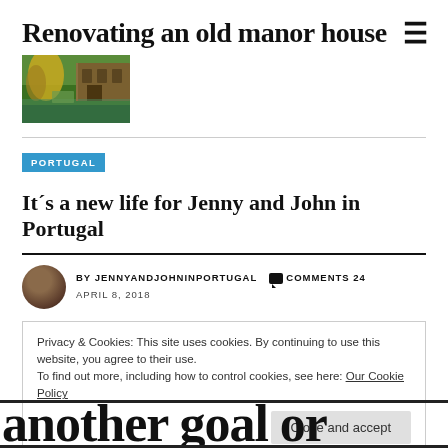Renovating an old manor house
[Figure (photo): Small rectangular photo of a manor house with trees and water, autumn colors]
PORTUGAL
It´s a new life for Jenny and John in Portugal
BY JENNYANDJOHNINPORTUGAL  COMMENTS 24
APRIL 8, 2018
Privacy & Cookies: This site uses cookies. By continuing to use this website, you agree to their use.
To find out more, including how to control cookies, see here: Our Cookie Policy
Close and accept
another goal or